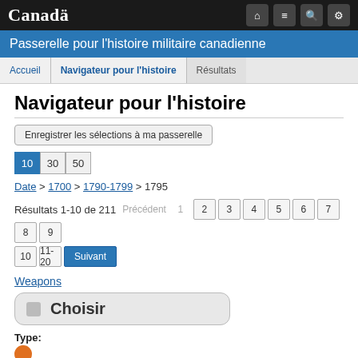Canada — Passerelle pour l'histoire militaire canadienne
Passerelle pour l'histoire militaire canadienne
Accueil | Navigateur pour l'histoire | Résultats
Navigateur pour l'histoire
Enregistrer les sélections à ma passerelle
10  30  50
Date > 1700 > 1790-1799 > 1795
Résultats 1-10 de 211  Précédent  1  2  3  4  5  6  7  8  9
10  11-20  Suivant
Weapons
Choisir
Type: